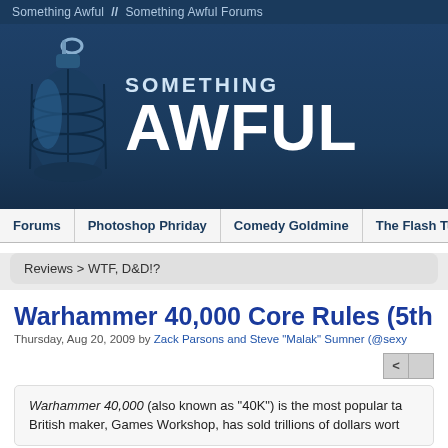Something Awful  //  Something Awful Forums
[Figure (logo): Something Awful website banner with grenade logo on the left and 'SOMETHING AWFUL' text in large white bold letters on dark blue background]
Forums | Photoshop Phriday | Comedy Goldmine | The Flash Tub | WTF, D&D!?
Reviews > WTF, D&D!?
Warhammer 40,000 Core Rules (5th Edition)
Thursday, Aug 20, 2009 by Zack Parsons and Steve "Malak" Sumner (@sexy)
Warhammer 40,000 (also known as "40K") is the most popular tabletop wargame. Its British maker, Games Workshop, has sold trillions of dollars worth...